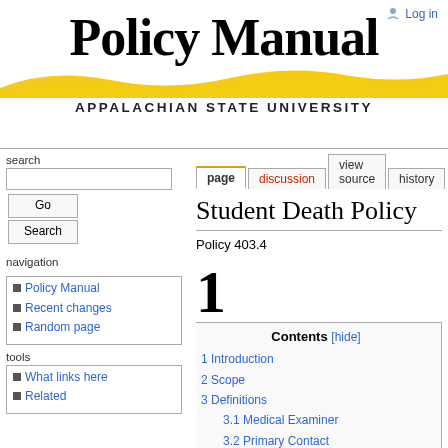Policy Manual — Appalachian State University
Log in
Student Death Policy
Policy 403.4
search
navigation
Policy Manual
Recent changes
Random page
tools
What links here
Related
Contents [hide]
1 Introduction
2 Scope
3 Definitions
3.1 Medical Examiner
3.2 Primary Contact
3.3 Student
3.4 University
3.5 University Sponsored Travel